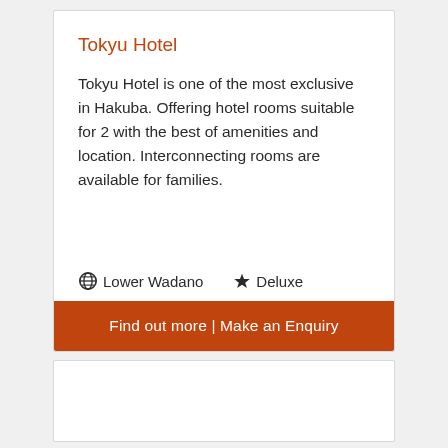Tokyu Hotel
Tokyu Hotel is one of the most exclusive in Hakuba. Offering hotel rooms suitable for 2 with the best of amenities and location. Interconnecting rooms are available for families.
Lower Wadano   Deluxe
Find out more | Make an Enquiry